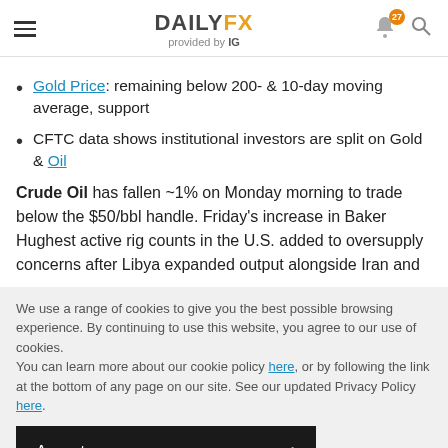DAILYFX provided by IG
Gold Price: remaining below 200- & 10-day moving average, support
CFTC data shows institutional investors are split on Gold & Oil
Crude Oil has fallen ~1% on Monday morning to trade below the $50/bbl handle. Friday's increase in Baker Hughest active rig counts in the U.S. added to oversupply concerns after Libya expanded output alongside Iran and
We use a range of cookies to give you the best possible browsing experience. By continuing to use this website, you agree to our use of cookies.
You can learn more about our cookie policy here, or by following the link at the bottom of any page on our site. See our updated Privacy Policy here.